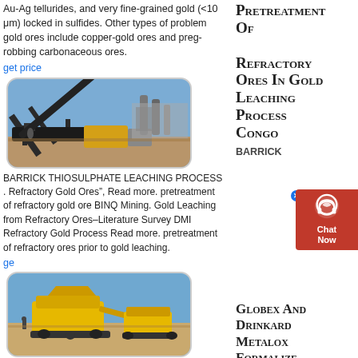Au-Ag tellurides, and very fine-grained gold (<10 μm) locked in sulfides. Other types of problem gold ores include copper-gold ores and preg-robbing carbonaceous ores.
get price
[Figure (photo): Mining equipment/conveyor belt machinery at an open-pit gold mine site, industrial setting with clear blue sky]
Pretreatment Of Refractory Ores In Gold Leaching Process Congo
BARRICK THIOSULPHATE LEACHING PROCESS . Refractory Gold Ores", Read more. pretreatment of refractory gold ore BINQ Mining. Gold Leaching from Refractory Ores–Literature Survey DMI Refractory Gold Process Read more. pretreatment of refractory ores prior to gold leaching.
get
[Figure (photo): Yellow mining crusher/processing equipment at an open-pit mine with blue sky background]
Globex And Drinkard Metalox Formalize Refractory Gold